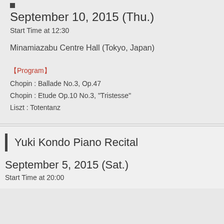September 10, 2015 (Thu.)
Start Time at 12:30
Minamiazabu Centre Hall (Tokyo, Japan)
【Program】
Chopin : Ballade No.3, Op.47
Chopin : Etude Op.10 No.3, "Tristesse"
Liszt : Totentanz
Yuki Kondo Piano Recital
September 5, 2015 (Sat.)
Start Time at 20:00